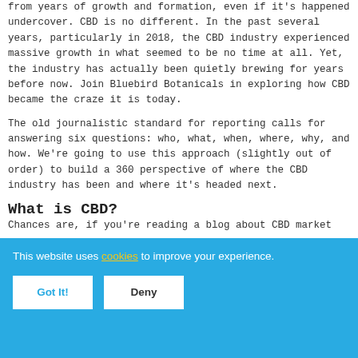from years of growth and formation, even if it's happened undercover. CBD is no different. In the past several years, particularly in 2018, the CBD industry experienced massive growth in what seemed to be no time at all. Yet, the industry has actually been quietly brewing for years before now. Join Bluebird Botanicals in exploring how CBD became the craze it is today.
The old journalistic standard for reporting calls for answering six questions: who, what, when, where, why, and how. We're going to use this approach (slightly out of order) to build a 360 perspective of where the CBD industry has been and where it's headed next.
What is CBD?
Chances are, if you're reading a blog about CBD market
This website uses cookies to improve your experience.
Got It!
Deny